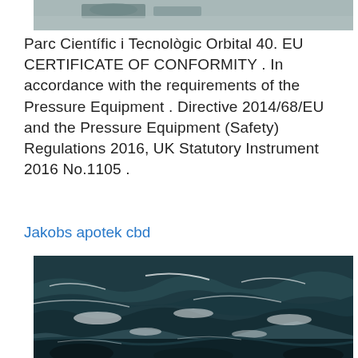[Figure (photo): Partial top photo, cropped, showing a boat or watercraft on water, gray toned image]
Parc Científic i Tecnològic Orbital 40. EU CERTIFICATE OF CONFORMITY . In accordance with the requirements of the Pressure Equipment . Directive 2014/68/EU and the Pressure Equipment (Safety) Regulations 2016, UK Statutory Instrument 2016 No.1105 .
Jakobs apotek cbd
[Figure (photo): Ocean waves photograph, dark teal blue sea with white foam and crashing waves]